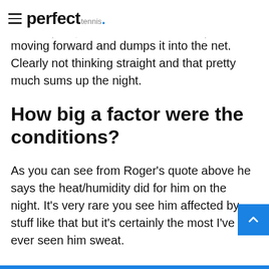perfect tennis.
many rudimentary mistakes, one that sticks in my mind... third set tie-break to put himself up 4-2, a basic net close but he stops moving forward and dumps it into the net. Clearly not thinking straight and that pretty much sums up the night.
How big a factor were the conditions?
As you can see from Roger's quote above he says the heat/humidity did for him on the night. It's very rare you see him affected by stuff like that but it's certainly the most I've ever seen him sweat.